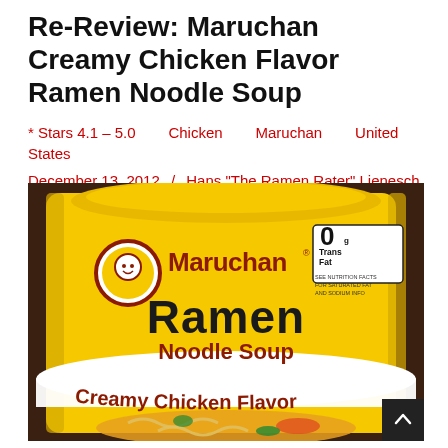Re-Review: Maruchan Creamy Chicken Flavor Ramen Noodle Soup
* Stars 4.1 – 5.0    Chicken    Maruchan    United States
December 13, 2012  /  Hans "The Ramen Rater" Lienesch
[Figure (photo): Photo of a Maruchan Ramen Noodle Soup package – Creamy Chicken Flavor, yellow packaging with the Maruchan logo, showing '0g Trans Fat' label and an image of the noodle soup with vegetables.]